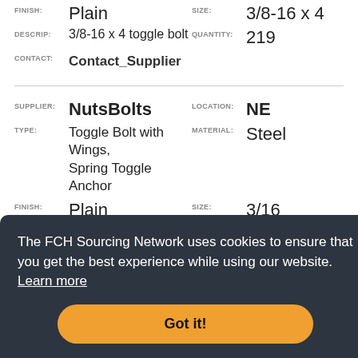FINISH: Plain   SIZE: 3/8-16 x 4
DESCRIP: 3/8-16 x 4 toggle bolt   QUANTITY: 219
CONTACT: Contact_Supplier
SUPPLIER: NutsBolts   LOCATION: NE
TYPE: Toggle Bolt with Wings, Spring Toggle Anchor   MATERIAL: Steel
FINISH: Plain   SIZE: 3/16
DESCRIP: 3/16 snap toggle   QUANTITY: 1020
The FCH Sourcing Network uses cookies to ensure that you get the best experience while using our website. Learn more
Got it!
FINISH: Plain   SIZE: 3/16-24